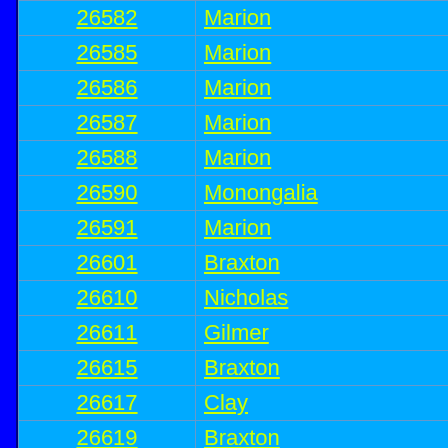| ZIP | County |
| --- | --- |
| 26582 | Marion |
| 26585 | Marion |
| 26586 | Marion |
| 26587 | Marion |
| 26588 | Marion |
| 26590 | Monongalia |
| 26591 | Marion |
| 26601 | Braxton |
| 26610 | Nicholas |
| 26611 | Gilmer |
| 26615 | Braxton |
| 26617 | Clay |
| 26619 | Braxton |
| 26621 | Braxton |
| 26623 | Braxton |
| 26624 | Braxton |
| 26627 | Braxton |
| 26629 | Braxton |